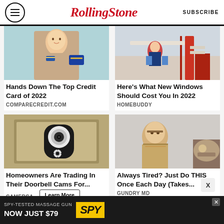RollingStone SUBSCRIBE
[Figure (photo): Woman smiling holding credit card and phone]
Hands Down The Top Credit Card of 2022
COMPARECREDIT.COM
[Figure (photo): Person on ladder installing windows on house exterior]
Here's What New Windows Should Cost You In 2022
HOMEBUDDY
[Figure (photo): Security camera mounted on stone wall]
Homeowners Are Trading In Their Doorbell Cams For...
CAMERCA
[Figure (photo): Older man in suit pointing at something]
Always Tired? Just Do THIS Once Each Day (Takes...
GUNDRY MD
[Figure (infographic): SPY-TESTED MASSAGE GUN NOW JUST $79 advertisement banner]